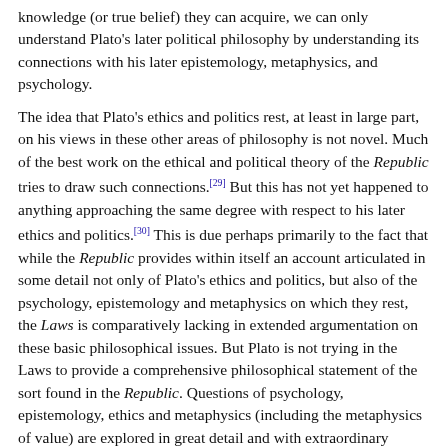knowledge (or true belief) they can acquire, we can only understand Plato's later political philosophy by understanding its connections with his later epistemology, metaphysics, and psychology.
The idea that Plato's ethics and politics rest, at least in large part, on his views in these other areas of philosophy is not novel. Much of the best work on the ethical and political theory of the Republic tries to draw such connections.[29] But this has not yet happened to anything approaching the same degree with respect to his later ethics and politics.[30] This is due perhaps primarily to the fact that while the Republic provides within itself an account articulated in some detail not only of Plato's ethics and politics, but also of the psychology, epistemology and metaphysics on which they rest, the Laws is comparatively lacking in extended argumentation on these basic philosophical issues. But Plato is not trying in the Laws to provide a comprehensive philosophical statement of the sort found in the Republic. Questions of psychology, epistemology, ethics and metaphysics (including the metaphysics of value) are explored in great detail and with extraordinary sophistication in the other later dialogues. Indeed, they are treated in much more detail and with greater philosophical power than in the middle period. And it is these later dialogues that provide the indispensable background for understanding the Laws. Thus we should read it together with, for example, the Philebus' metaphysics of value and account of